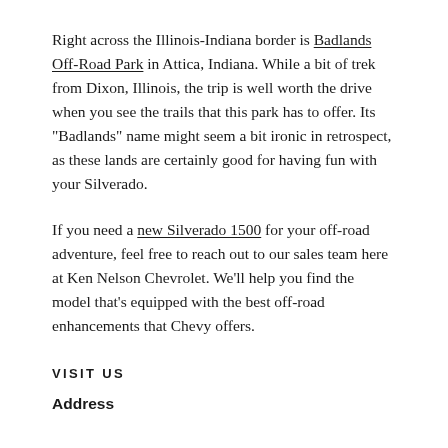Right across the Illinois-Indiana border is Badlands Off-Road Park in Attica, Indiana. While a bit of trek from Dixon, Illinois, the trip is well worth the drive when you see the trails that this park has to offer. Its "Badlands" name might seem a bit ironic in retrospect, as these lands are certainly good for having fun with your Silverado.
If you need a new Silverado 1500 for your off-road adventure, feel free to reach out to our sales team here at Ken Nelson Chevrolet. We'll help you find the model that's equipped with the best off-road enhancements that Chevy offers.
VISIT US
Address